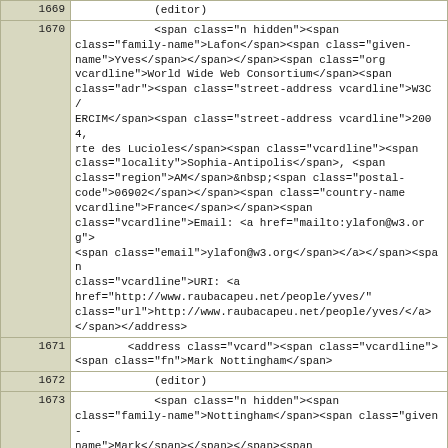| line | code |
| --- | --- |
| 1669 |             (editor) |
| 1670 |             <span class="n hidden"><span
class="family-name">Lafon</span><span class="given-
name">Yves</span></span></span><span class="org
vcardline">World Wide Web Consortium</span><span
class="adr"><span class="street-address vcardline">W3C /
ERCIM</span><span class="street-address vcardline">2004,
rte des Lucioles</span><span class="vcardline"><span
class="locality">Sophia-Antipolis</span>, <span
class="region">AM</span>&nbsp;<span class="postal-
code">06902</span></span><span class="country-name
vcardline">France</span></span><span
class="vcardline">Email: <a href="mailto:ylafon@w3.org">
<span class="email">ylafon@w3.org</span></a></span><span
class="vcardline">URI: <a
href="http://www.raubacapeu.net/people/yves/"
class="url">http://www.raubacapeu.net/people/yves/</a>
</span></address> |
| 1671 |         <address class="vcard"><span class="vcardline">
<span class="fn">Mark Nottingham</span> |
| 1672 |             (editor) |
| 1673 |             <span class="n hidden"><span
class="family-name">Nottingham</span><span class="given-
name">Mark</span></span></span><span
class="vcardline">Email: <a href="mailto:mnot@mnot.net">
<span class="email">mnot@mnot.net</span></a></span><span
class="vcardline">URI: <a href="http://www.mnot.net/"
class="url">http://www.mnot.net/</a></span></address> |
| 1674 |         <address class="vcard"><span class="vcardline">
<span class="fn">Julian F. Reschke</span> |
| 1675 |             (editor) |
| 1676 |             <span class="n hidden"><span
class="family-name">Reschke</span><span class="given-
name">Julian F.</span></span></span><span class="org
vcardline">greenbytes GmbH</span><span class="adr"><span
class="street-address vcardline">Hafenweg 16</span><span |